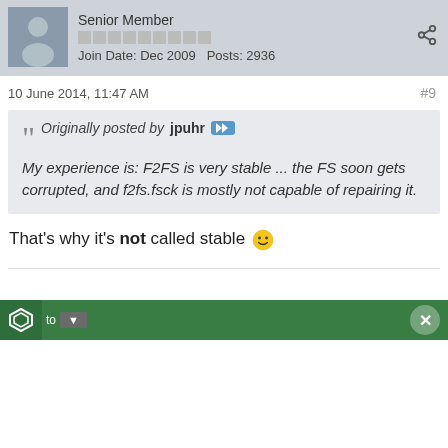Senior Member | Join Date: Dec 2009  Posts: 2936
10 June 2014, 11:47 AM  #9
Originally posted by jpuhr »»  My experience is: F2FS is very stable ... the FS soon gets corrupted, and f2fs.fsck is mostly not capable of repairing it.
That's why it's not called stable 😊